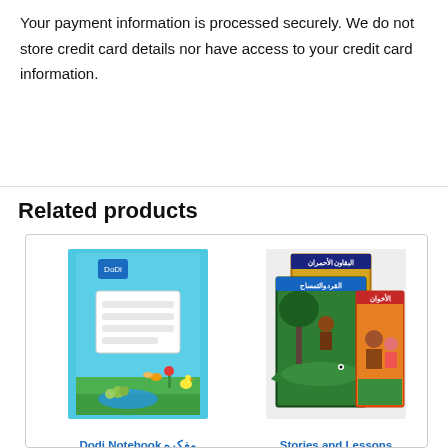Your payment information is processed securely. We do not store credit card details nor have access to your credit card information.
Related products
[Figure (illustration): Product image: Dodi Notebook with colorful cover featuring animals and nature scene]
Dodi Notebook مفکره
[Figure (illustration): Product image: Stories and Lessons Series (3 books) with illustrated animal story covers in Arabic]
Stories and Lessons Series (3 books)